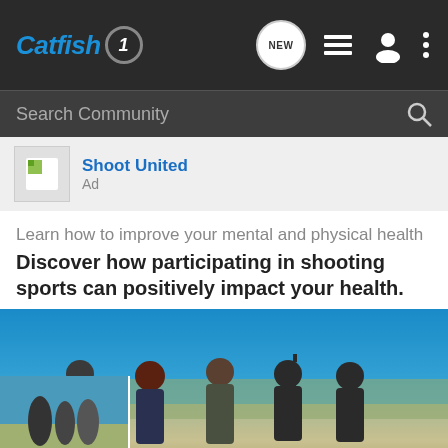Catfish1 — NEW — navigation icons
Search Community
Shoot United
Ad
Learn how to improve your mental and physical health
Discover how participating in shooting sports can positively impact your health.
[Figure (photo): Group of people at an outdoor shooting range celebrating under blue sky, with a red banner overlay reading YOUR NEW FAVORITE SPORT / EXPLORE HOW TO RESPONSIBLY PARTICIPATE IN THE SHOOTING SPORTS. / START HERE!]